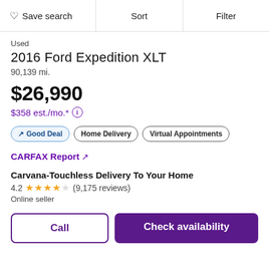Save search | Sort | Filter
Used
2016 Ford Expedition XLT
90,139 mi.
$26,990
$358 est./mo.*
Good Deal
Home Delivery
Virtual Appointments
CARFAX Report ↗
Carvana-Touchless Delivery To Your Home
4.2 ★★★★☆ (9,175 reviews)
Online seller
Call | Check availability